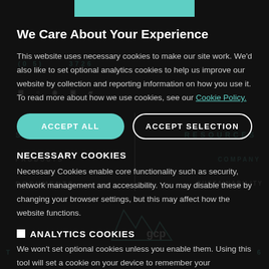We Care About Your Experience
This website uses necessary cookies to make our site work. We'd also like to set optional analytics cookies to help us improve our website by collection and reporting information on how you use it. To read more about how we use cookies, see our Cookie Policy.
ACCEPT ALL | ACCEPT SELECTION
NECESSARY COOKIES
Necessary Cookies enable core functionality such as security, network management and accessibility. You may disable these by changing your browser settings, but this may affect how the website functions.
ANALYTICS COOKIES
We won't set optional cookies unless you enable them. Using this tool will set a cookie on your device to remember your preferences.